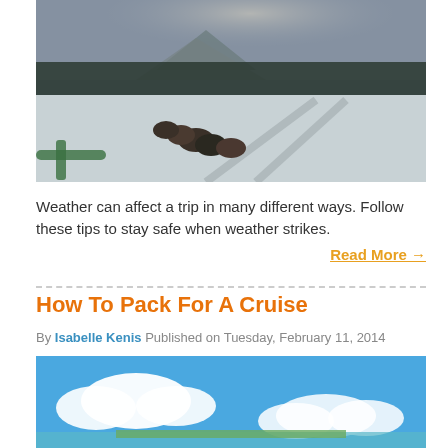[Figure (photo): Dog sled team viewed from behind, running through a snowy landscape with pine trees and mountains in the background under a cloudy sky]
Weather can affect a trip in many different ways. Follow these tips to stay safe when weather strikes.
Read More →
How To Pack For A Cruise
By Isabelle Kenis Published on Tuesday, February 11, 2014
[Figure (photo): Blue sky with white clouds over a tropical seascape or island shoreline]